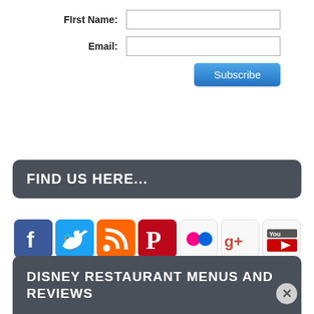First Name:
Email:
[Figure (screenshot): Subscribe button — blue rounded rectangle with white text 'Subscribe']
FIND US HERE...
[Figure (infographic): Row of social media icons: Facebook, Twitter, RSS, Pinterest, Flickr, Google+, YouTube]
DISNEY RESTAURANT MENUS AND REVIEWS